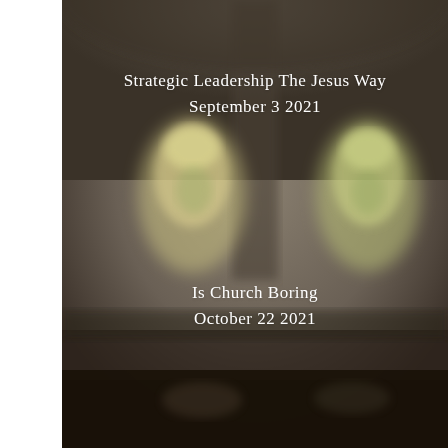[Figure (photo): Blurred interior of a church with stained glass windows visible in the background. A white vertical bar on the left side. The image is soft-focus showing arched windows with yellow/green tones and dark architectural elements.]
Strategic Leadership The Jesus Way
September 3 2021
Is Church Boring
October 22 2021